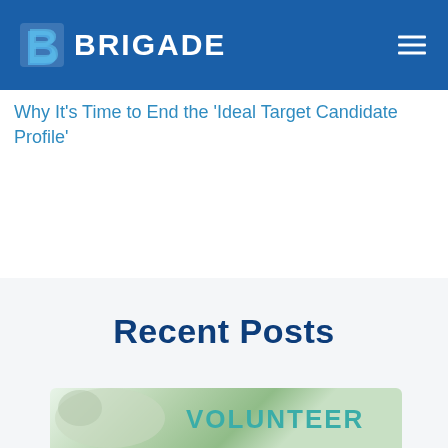BRIGADE
Why It’s Time to End the ‘Ideal Target Candidate Profile’
Recent Posts
[Figure (photo): Partial photo of a person wearing a white t-shirt with the word VOLUNTEER printed in teal letters, with a green outdoor background, partially cropped at the bottom of the page.]